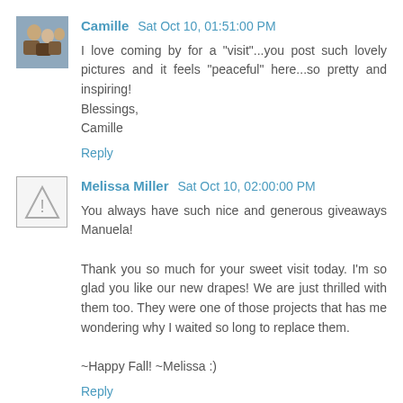Camille  Sat Oct 10, 01:51:00 PM
I love coming by for a "visit"...you post such lovely pictures and it feels "peaceful" here...so pretty and inspiring! Blessings, Camille
Reply
Melissa Miller  Sat Oct 10, 02:00:00 PM
You always have such nice and generous giveaways Manuela!

Thank you so much for your sweet visit today. I'm so glad you like our new drapes! We are just thrilled with them too. They were one of those projects that has me wondering why I waited so long to replace them.

~Happy Fall! ~Melissa :)
Reply